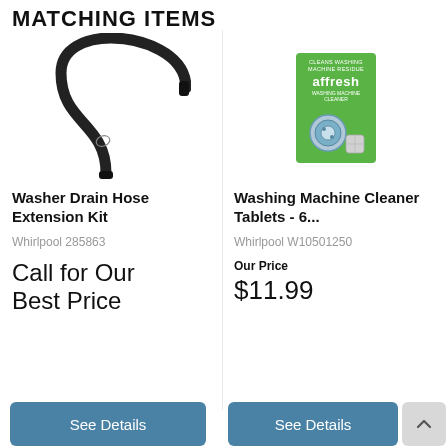MATCHING ITEMS
[Figure (photo): Washer drain hose extension kit - black curved flexible hose with small clip]
Washer Drain Hose Extension Kit
Whirlpool 285863
Call for Our Best Price
See Details
[Figure (photo): Affresh Washing Machine Cleaner Tablets green box product packaging]
Washing Machine Cleaner Tablets - 6...
Whirlpool W10501250
Our Price $11.99
See Details